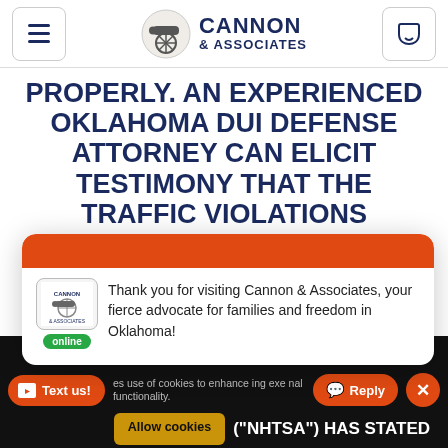[Figure (logo): Cannon & Associates law firm logo with cannon graphic, hamburger menu icon on left, phone icon on right]
PROPERLY. AN EXPERIENCED OKLAHOMA DUI DEFENSE ATTORNEY CAN ELICIT TESTIMONY THAT THE TRAFFIC VIOLATIONS OBSERVED ARE COMMITTED BY SOBER DRIVERS AN
Thank you for visiting Cannon & Associates, your fierce advocate for families and freedom in Oklahoma!
online
THE NATIONAL HIGHWAY TRAFFIC
es use of cookies to enhance ing ex e nal functionality.
("NHTSA") HAS STATED
Text us!
Reply
Allow cookies